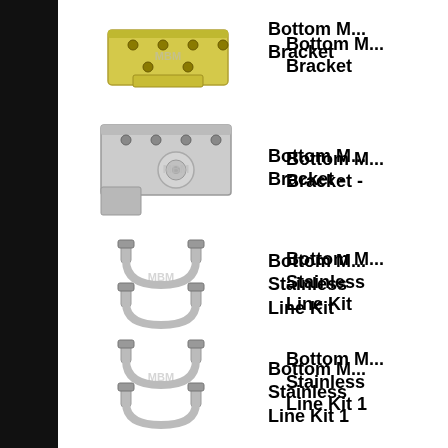[Figure (photo): Bottom Mount Bracket product photo - yellow/zinc plated metal bracket with mounting holes]
Bottom M... Bracket
[Figure (photo): Bottom Mount Bracket - stainless steel L-shaped bracket with mounting holes]
Bottom M... Bracket -
[Figure (photo): Bottom Mount Stainless Steel Line Kit - U-bolt style brake line fittings]
Bottom M... Stainless Line Kit
[Figure (photo): Bottom Mount Stainless Steel Line Kit 1 - U-bolt style brake line fittings]
Bottom M... Stainless Line Kit 1
[Figure (photo): Bottom Mount Steel Line - single U-bolt style brake line fitting]
Bottom M... Steel Line...